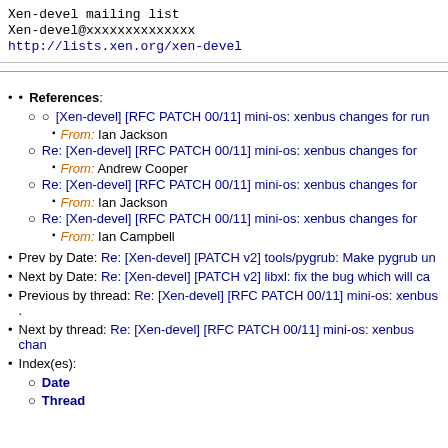Xen-devel mailing list
Xen-devel@xxxxxxxxxxxxxx
http://lists.xen.org/xen-devel
References:
[Xen-devel] [RFC PATCH 00/11] mini-os: xenbus changes for run... From: Ian Jackson
Re: [Xen-devel] [RFC PATCH 00/11] mini-os: xenbus changes for... From: Andrew Cooper
Re: [Xen-devel] [RFC PATCH 00/11] mini-os: xenbus changes for... From: Ian Jackson
Re: [Xen-devel] [RFC PATCH 00/11] mini-os: xenbus changes for... From: Ian Campbell
Prev by Date: Re: [Xen-devel] [PATCH v2] tools/pygrub: Make pygrub un...
Next by Date: Re: [Xen-devel] [PATCH v2] libxl: fix the bug which will ca...
Previous by thread: Re: [Xen-devel] [RFC PATCH 00/11] mini-os: xenbus ...
Next by thread: Re: [Xen-devel] [RFC PATCH 00/11] mini-os: xenbus chan...
Index(es):
Date
Thread